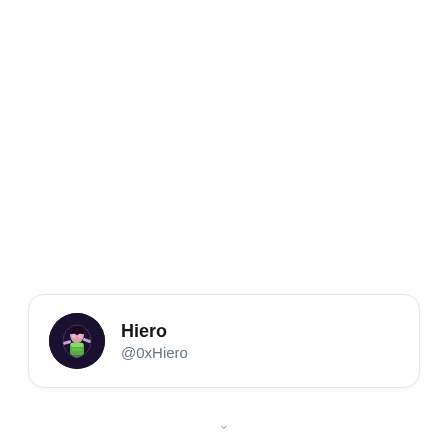[Figure (other): Twitter/X profile card for user Hiero (@0xHiero) with circular avatar photo showing a performer in colorful costume on dark background, display name in bold and handle in grey below]